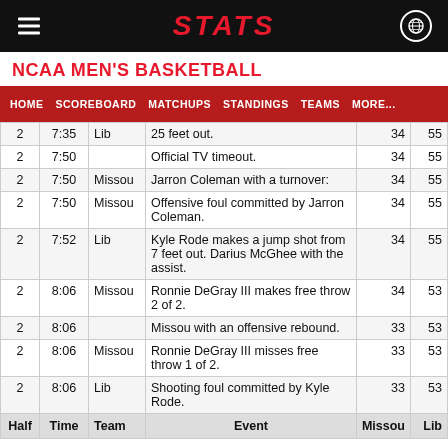STATS
NCAA MEN'S BASKETBALL
HOME   SCOREBOARD   MATCHUPS   STANDINGS   TEAMS   MORE...
| Half | Time | Team | Event | Missou | Lib |
| --- | --- | --- | --- | --- | --- |
| 2 | 7:35 | Lib | 25 feet out. | 34 | 55 |
| 2 | 7:50 |  | Official TV timeout. | 34 | 55 |
| 2 | 7:50 | Missou | Jarron Coleman with a turnover: | 34 | 55 |
| 2 | 7:50 | Missou | Offensive foul committed by Jarron Coleman. | 34 | 55 |
| 2 | 7:52 | Lib | Kyle Rode makes a jump shot from 7 feet out. Darius McGhee with the assist. | 34 | 55 |
| 2 | 8:06 | Missou | Ronnie DeGray III makes free throw 2 of 2. | 34 | 53 |
| 2 | 8:06 |  | Missou with an offensive rebound. | 33 | 53 |
| 2 | 8:06 | Missou | Ronnie DeGray III misses free throw 1 of 2. | 33 | 53 |
| 2 | 8:06 | Lib | Shooting foul committed by Kyle Rode. | 33 | 53 |